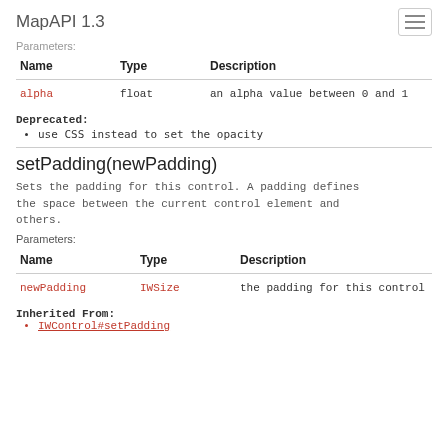MapAPI 1.3
Parameters:
| Name | Type | Description |
| --- | --- | --- |
| alpha | float | an alpha value between 0 and 1 |
Deprecated:
use CSS instead to set the opacity
setPadding(newPadding)
Sets the padding for this control. A padding defines the space between the current control element and others.
Parameters:
| Name | Type | Description |
| --- | --- | --- |
| newPadding | IWSize | the padding for this control |
Inherited From:
IWControl#setPadding